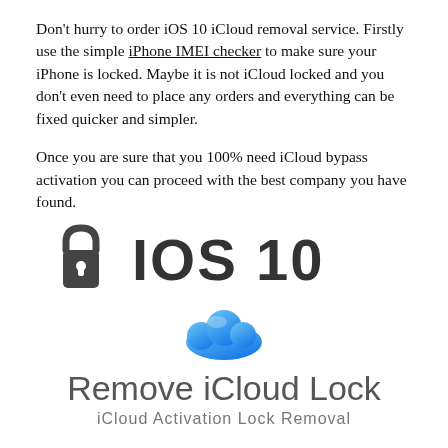Don't hurry to order iOS 10 iCloud removal service. Firstly use the simple iPhone IMEI checker to make sure your iPhone is locked. Maybe it is not iCloud locked and you don't even need to place any orders and everything can be fixed quicker and simpler.
Once you are sure that you 100% need iCloud bypass activation you can proceed with the best company you have found.
[Figure (illustration): A grey padlock icon next to large bold text reading 'IOS 10', with a blue iCloud cloud icon below, and text 'Remove iCloud Lock' and 'iCloud Activation Lock Removal' beneath]